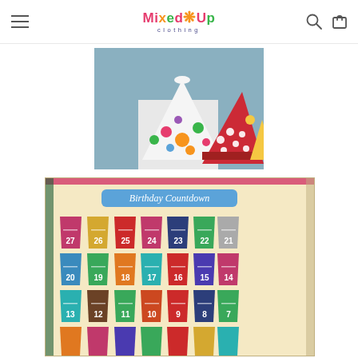Mixed Up Clothing — navigation header with logo, search icon, and cart icon
[Figure (photo): Close-up photo of colorful party hats with polka dots on a table — one white hat with rainbow polka dots and one red hat with white dots]
[Figure (photo): Photo of a Birthday Countdown board showing numbered cupcake-shaped pockets from 27 down to bottom row, in various colors on a cream/tan background with blue title banner reading 'Birthday Countdown']